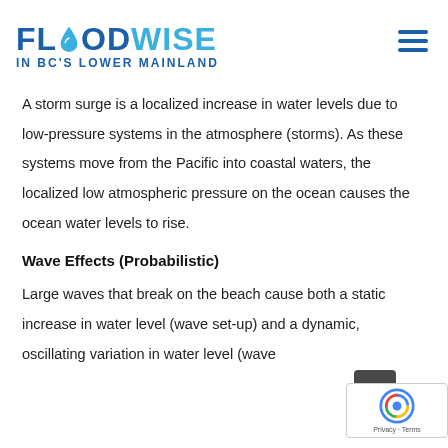[Figure (logo): FloodWise in BC's Lower Mainland logo with water drop icon, blue text, and hamburger menu icon]
A storm surge is a localized increase in water levels due to low-pressure systems in the atmosphere (storms). As these systems move from the Pacific into coastal waters, the localized low atmospheric pressure on the ocean causes the ocean water levels to rise.
Wave Effects (Probabilistic)
Large waves that break on the beach cause both a static increase in water level (wave set-up) and a dynamic, oscillating variation in water level (wave